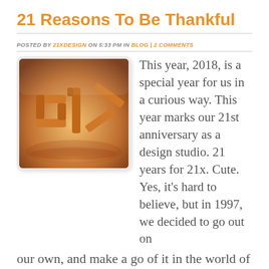21 Reasons To Be Thankful
POSTED BY 21XDESIGN ON 5:33 PM IN BLOG | 2 COMMENTS
[Figure (photo): Photo of golden '21X' dimensional letter sculptures on a reflective surface with warm orange lighting and soft background blur.]
This year, 2018, is a special year for us in a curious way. This year marks our 21st anniversary as a design studio. 21 years for 21x. Cute. Yes, it's hard to believe, but in 1997, we decided to go out on our own, and make a go of it in the world of design. I'm not sure we had an idea of what was in store for us in the upcoming decades, but we both know that the time felt right, and